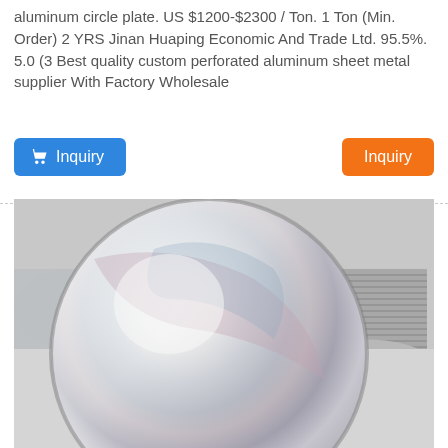aluminum circle plate. US $1200-$2300 / Ton. 1 Ton (Min. Order) 2 YRS Jinan Huaping Economic And Trade Ltd. 95.5%. 5.0 (3 Best quality custom perforated aluminum sheet metal supplier With Factory Wholesale
[Figure (other): Blue 'Inquiry' button with shopping cart icon on the left, and orange 'Inquiry' button on the right]
[Figure (photo): Close-up photograph of shiny polished aluminum circle discs/plates, showing a large reflective circular plate in the foreground and stacked aluminum circles in the background]